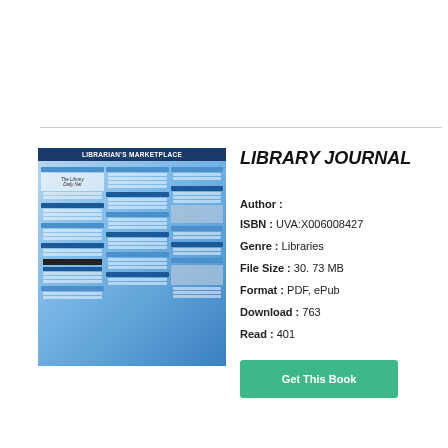[Figure (other): Green 'Get This Book' button at top right]
[Figure (photo): Book cover of Library Journal showing Librarian's Marketplace reference guide with blue layout]
LIBRARY JOURNAL
Author :
ISBN : UVA:X006008427
Genre : Libraries
File Size : 30. 73 MB
Format : PDF, ePub
Download : 763
Read : 401
[Figure (other): Green 'Get This Book' button at bottom]